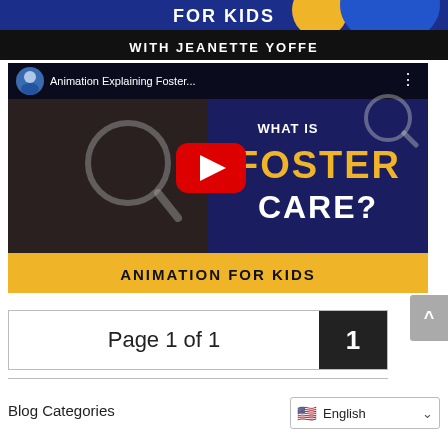[Figure (screenshot): Top portion of a website banner showing 'WITH JEANETTE YOFFE' text on a black strip, part of a blue and colored graphic banner about foster care for kids]
[Figure (screenshot): YouTube video thumbnail showing 'Animation Explaining Foster...' with a woman holding a magnifying glass, text 'WHAT IS FOSTER CARE?' in white and yellow, red YouTube play button, and 'ANIMATION FOR KIDS' on a yellow bottom bar]
Page 1 of 1
1
Blog Categories
English